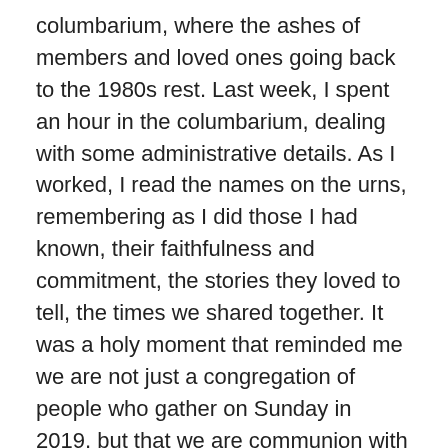columbarium, where the ashes of members and loved ones going back to the 1980s rest. Last week, I spent an hour in the columbarium, dealing with some administrative details. As I worked, I read the names on the urns, remembering as I did those I had known, their faithfulness and commitment, the stories they loved to tell, the times we shared together. It was a holy moment that reminded me we are not just a congregation of people who gather on Sunday in 2019, but that we are communion with those who have gone before us, whose faithfulness and commitment continue to sustain us in many ways.
Today we are observing All Saints' Sunday, which really wouldn't be a thing, except for the fact that All Saints' Day is November 1. Although it's one of the major feast days of the Church, we don't typically have a Eucharist on that day. So we move its observance to the Sunday following.